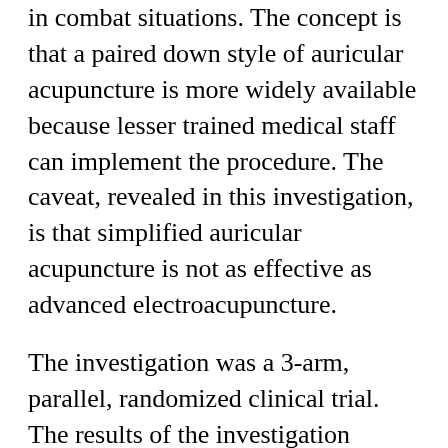in combat situations. The concept is that a paired down style of auricular acupuncture is more widely available because lesser trained medical staff can implement the procedure. The caveat, revealed in this investigation, is that simplified auricular acupuncture is not as effective as advanced electroacupuncture.
The investigation was a 3-arm, parallel, randomized clinical trial. The results of the investigation demonstrate that electroacupuncture and auricular acupuncture produce greater reductions in pain levels than usual care.
Electroacupuncture was provided by licensed acupuncturists with a minimum of five years of clinical experience in oncology. For electroacupuncture, the protocol was the